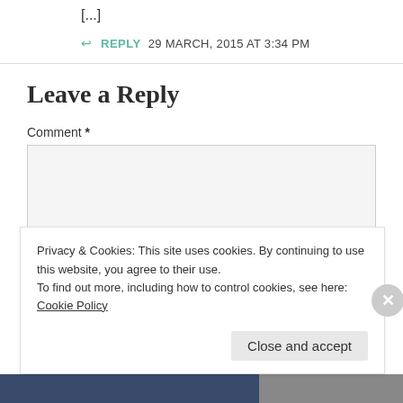[...]
↩ REPLY   29 MARCH, 2015 AT 3:34 PM
Leave a Reply
Comment *
Privacy & Cookies: This site uses cookies. By continuing to use this website, you agree to their use.
To find out more, including how to control cookies, see here: Cookie Policy
Close and accept